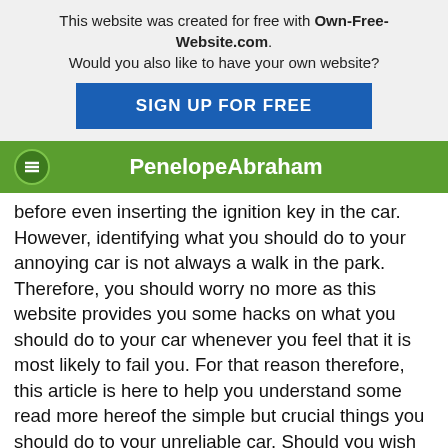This website was created for free with Own-Free-Website.com. Would you also like to have your own website?
SIGN UP FOR FREE
PenelopeAbraham
before even inserting the ignition key in the car. However, identifying what you should do to your annoying car is not always a walk in the park. Therefore, you should worry no more as this website provides you some hacks on what you should do to your car whenever you feel that it is most likely to fail you. For that reason therefore, this article is here to help you understand some read more hereof the simple but crucial things you should do to your unreliable car. Should you wish to get enlightened on the best car service provider read more now.
Learning more about the problems facing your car is one of the things you should be focused with. Your car's problems may be arising from the engine system, the carburetor or even the transmission system. Having an intensive look at the carpage for the purpose of identifying all the problems isnow important. It is also wise tread